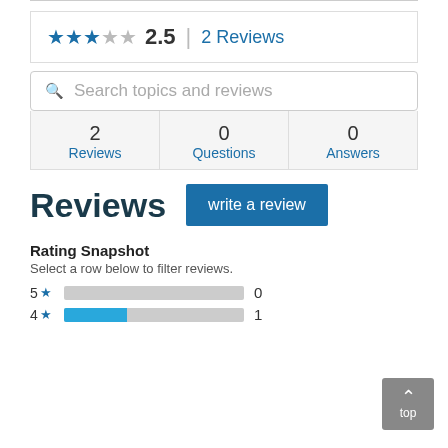★★★☆☆ 2.5 | 2 Reviews
Search topics and reviews
2 Reviews | 0 Questions | 0 Answers
Reviews
write a review
Rating Snapshot
Select a row below to filter reviews.
[Figure (bar-chart): Rating Snapshot]